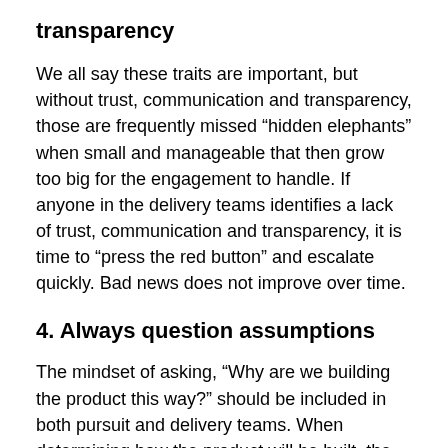transparency
We all say these traits are important, but without trust, communication and transparency, those are frequently missed “hidden elephants” when small and manageable that then grow too big for the engagement to handle. If anyone in the delivery teams identifies a lack of trust, communication and transparency, it is time to “press the red button” and escalate quickly. Bad news does not improve over time.
4. Always question assumptions
The mindset of asking, “Why are we building the product this way?” should be included in both pursuit and delivery teams. When determining how the product will be built, the transition from who, what